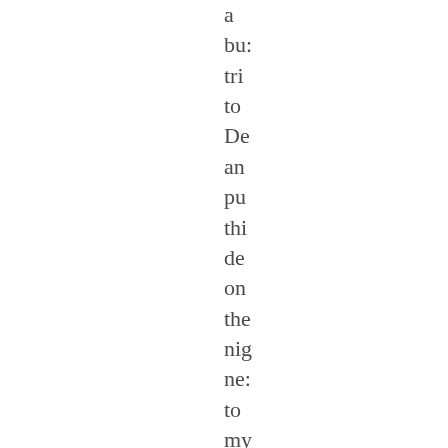a bus trip to De and put thi dev on the nig nex to my bec in my hot